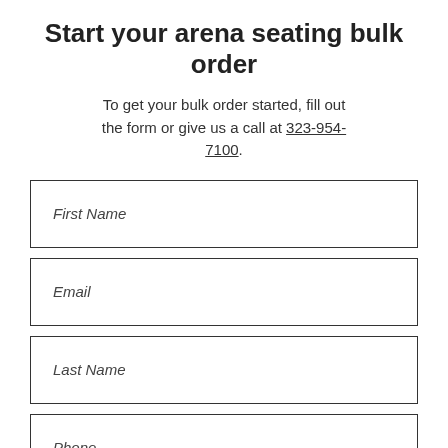Start your arena seating bulk order
To get your bulk order started, fill out the form or give us a call at 323-954-7100.
First Name
Email
Last Name
Phone